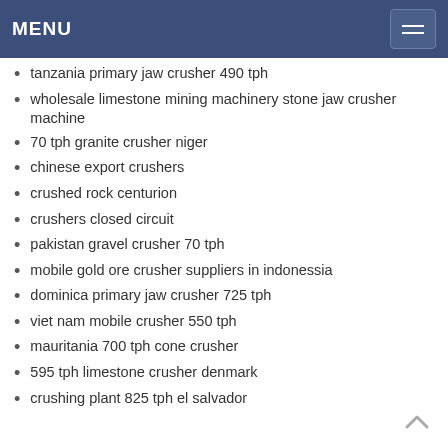MENU
tanzania primary jaw crusher 490 tph
wholesale limestone mining machinery stone jaw crusher machine
70 tph granite crusher niger
chinese export crushers
crushed rock centurion
crushers closed circuit
pakistan gravel crusher 70 tph
mobile gold ore crusher suppliers in indonessia
dominica primary jaw crusher 725 tph
viet nam mobile crusher 550 tph
mauritania 700 tph cone crusher
595 tph limestone crusher denmark
crushing plant 825 tph el salvador